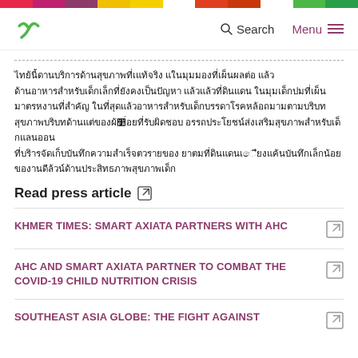Navigation bar with logo, Search, and Menu
[Thai language text block - redacted/script content]
Read press article [external link]
KHMER TIMES: SMART AXIATA PARTNERS WITH AHC
AHC AND SMART AXIATA PARTNER TO COMBAT THE COVID-19 CHILD NUTRITION CRISIS
SOUTHEAST ASIA GLOBE: THE FIGHT AGAINST